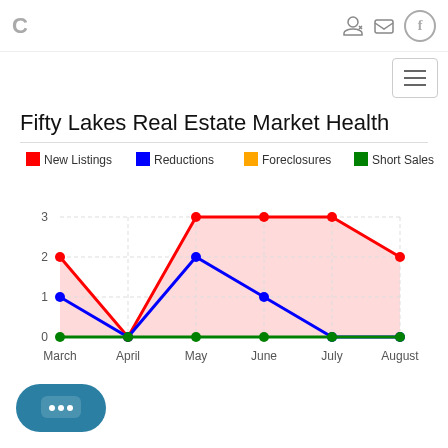C
Fifty Lakes Real Estate Market Health
[Figure (line-chart): Fifty Lakes Real Estate Market Health]